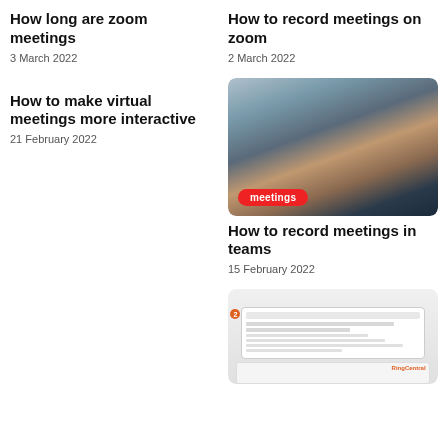How long are zoom meetings
3 March 2022
How to record meetings on zoom
2 March 2022
How to make virtual meetings more interactive
21 February 2022
[Figure (photo): Two people working at computers in an office setting, with a red 'meetings' tag overlay at the bottom left]
How to record meetings in teams
15 February 2022
[Figure (screenshot): Screenshot of a calendar/meeting invitation form with a circular orange icon numbered 2 on the left side, and a smaller dialog box below]